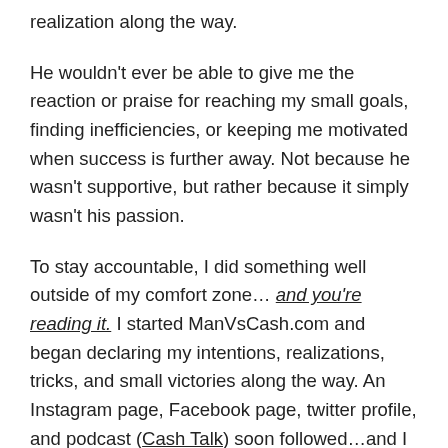realization along the way.
He wouldn't ever be able to give me the reaction or praise for reaching my small goals, finding inefficiencies, or keeping me motivated when success is further away. Not because he wasn't supportive, but rather because it simply wasn't his passion.
To stay accountable, I did something well outside of my comfort zone… and you're reading it. I started ManVsCash.com and began declaring my intentions, realizations, tricks, and small victories along the way. An Instagram page, Facebook page, twitter profile, and podcast (Cash Talk) soon followed…and I stumbled across a community of people online who shared the same passion as me.
This community of like-minded people have encouraged me